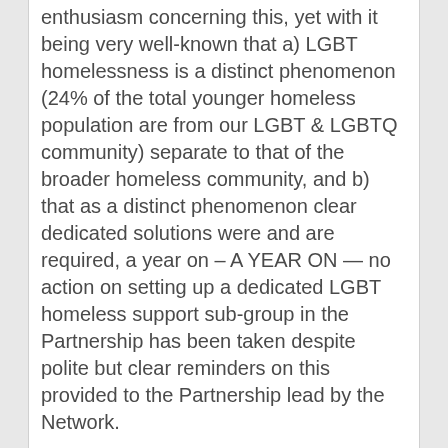enthusiasm concerning this, yet with it being very well-known that a) LGBT homelessness is a distinct phenomenon (24% of the total younger homeless population are from our LGBT & LGBTQ community) separate to that of the broader homeless community, and b) that as a distinct phenomenon clear dedicated solutions were and are required, a year on – A YEAR ON — no action on setting up a dedicated LGBT homeless support sub-group in the Partnership has been taken despite polite but clear reminders on this provided to the Partnership lead by the Network.
This indicates either unstated opposition within established elements of the Partnership, or that the needs of the LGBT homeless and at risk of homelessness are Not a priority for the Partnership.